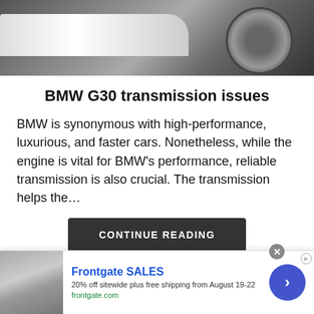[Figure (photo): Close-up photo of a white BMW car with a large alloy wheel visible, dark blurred background]
BMW G30 transmission issues
BMW is synonymous with high-performance, luxurious, and faster cars. Nonetheless, while the engine is vital for BMW's performance, reliable transmission is also crucial. The transmission helps the…
CONTINUE READING
[Figure (infographic): Advertisement banner for Frontgate SALES showing outdoor furniture with fire pit. Text: Frontgate SALES, 20% off sitewide plus free shipping from August 19-22, frontgate.com]